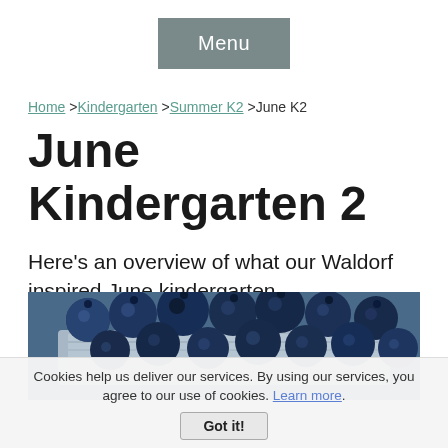Menu
Home >Kindergarten >Summer K2 >June K2
June Kindergarten 2
Here's an overview of what our Waldorf inspired June kindergarten homeschooling looked like during our second year of kindergarten (age 5-6).
[Figure (photo): Close-up photo of fresh blueberries in a white paper/wicker basket container]
Cookies help us deliver our services. By using our services, you agree to our use of cookies. Learn more. Got it!